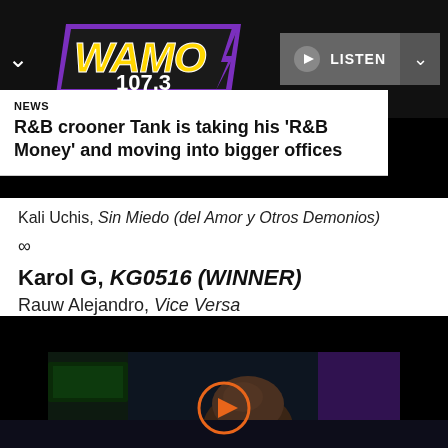[Figure (logo): WAMO 107.3 radio station logo in yellow and white text on a purple/black angular background]
LISTEN
NEWS
R&B crooner Tank is taking his 'R&B Money' and moving into bigger offices
Kali Uchis, Sin Miedo (del Amor y Otros Demonios)
∞
Karol G, KG0516 (WINNER)
Rauw Alejandro, Vice Versa
[Figure (photo): Dark scene with a bald person's head in the foreground and purple accents in the background]